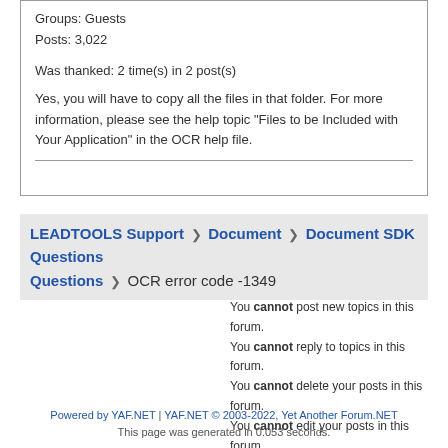Groups: Guests
Posts: 3,022
Was thanked: 2 time(s) in 2 post(s)
Yes, you will have to copy all the files in that folder. For more information, please see the help topic "Files to be Included with Your Application" in the OCR help file.
LEADTOOLS Support > Document > Document SDK Questions > OCR error code -1349
You cannot post new topics in this forum.
You cannot reply to topics in this forum.
You cannot delete your posts in this forum.
You cannot edit your posts in this forum.
You cannot create polls in this forum.
You cannot vote in polls in this forum.
Powered by YAF.NET | YAF.NET © 2003-2022, Yet Another Forum.NET
This page was generated in 0.053 seconds.